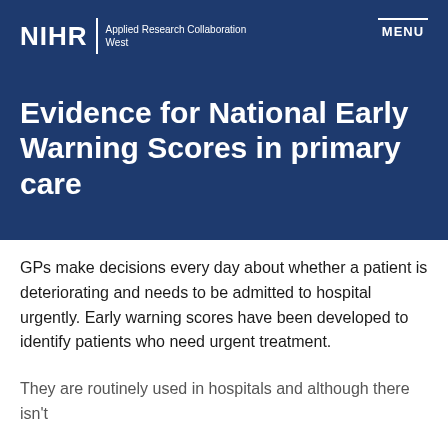NIHR | Applied Research Collaboration West
Evidence for National Early Warning Scores in primary care
GPs make decisions every day about whether a patient is deteriorating and needs to be admitted to hospital urgently. Early warning scores have been developed to identify patients who need urgent treatment.
They are routinely used in hospitals and although there isn't